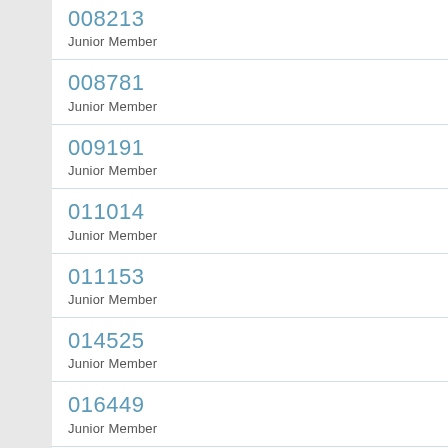008213
Junior Member
008781
Junior Member
009191
Junior Member
011014
Junior Member
011153
Junior Member
014525
Junior Member
016449
Junior Member
019010
Junior Member